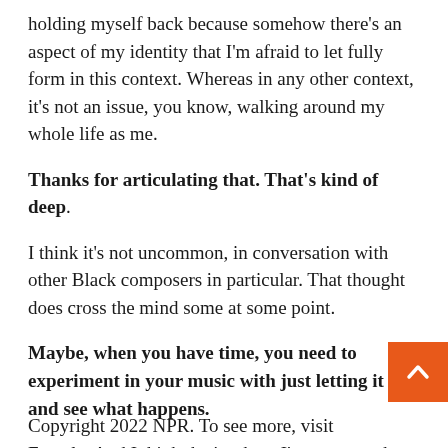holding myself back because somehow there's an aspect of my identity that I'm afraid to let fully form in this context. Whereas in any other context, it's not an issue, you know, walking around my whole life as me.
Thanks for articulating that. That's kind of deep.
I think it's not uncommon, in conversation with other Black composers in particular. That thought does cross the mind some at some point.
Maybe, when you have time, you need to experiment in your music with just letting it rip, and see what happens.
Exactly. And I think that's where I'm at now, where I'm like, “OK, I can do this. I have the headspace to d
Copyright 2022 NPR. To see more, visit